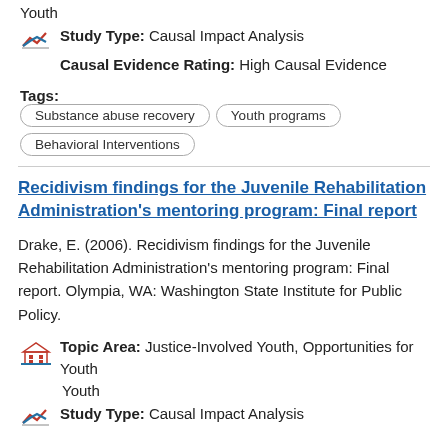Youth
Study Type: Causal Impact Analysis
Causal Evidence Rating: High Causal Evidence
Tags: Substance abuse recovery | Youth programs | Behavioral Interventions
Recidivism findings for the Juvenile Rehabilitation Administration's mentoring program: Final report
Drake, E. (2006). Recidivism findings for the Juvenile Rehabilitation Administration's mentoring program: Final report. Olympia, WA: Washington State Institute for Public Policy.
Topic Area: Justice-Involved Youth, Opportunities for Youth
Study Type: Causal Impact Analysis